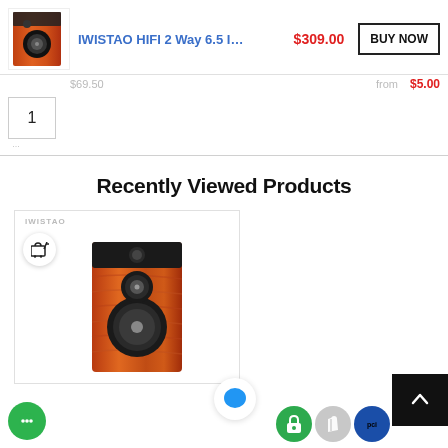[Figure (screenshot): E-commerce product listing page showing IWISTAO HIFI 2 Way 6.5 inch speaker at $309.00 with BUY NOW button, quantity selector showing 1, Recently Viewed Products section with speaker product card, and various floating UI buttons including chat bubble, back-to-top, and app icons.]
IWISTAO HIFI 2 Way 6.5 I…
$309.00
BUY NOW
$69.50
$5.00
1
Recently Viewed Products
IWISTAO